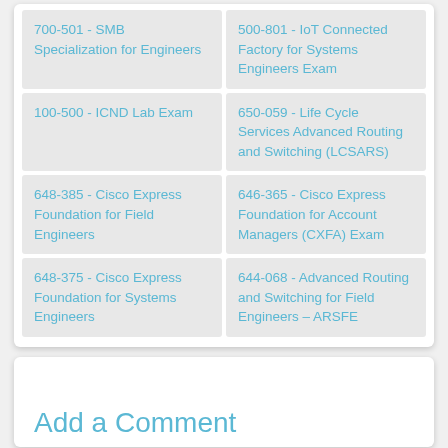700-501 - SMB Specialization for Engineers
500-801 - IoT Connected Factory for Systems Engineers Exam
100-500 - ICND Lab Exam
650-059 - Life Cycle Services Advanced Routing and Switching (LCSARS)
648-385 - Cisco Express Foundation for Field Engineers
646-365 - Cisco Express Foundation for Account Managers (CXFA) Exam
648-375 - Cisco Express Foundation for Systems Engineers
644-068 - Advanced Routing and Switching for Field Engineers – ARSFE
Add a Comment